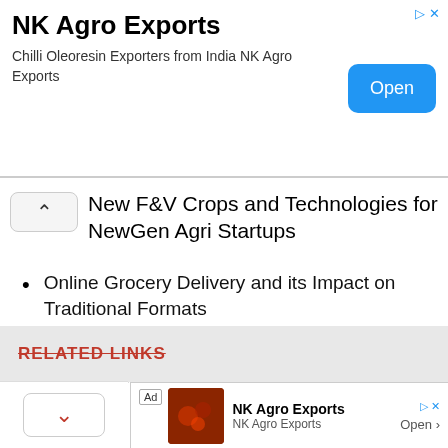[Figure (screenshot): Advertisement banner for NK Agro Exports with title, subtitle 'Chilli Oleoresin Exporters from India NK Agro Exports', and an Open button]
New F&V Crops and Technologies for NewGen Agri Startups
Online Grocery Delivery and its Impact on Traditional Formats
Role of FPOs & SHGs in increasing Farmer's Revenues
RELATED LINKS
[Figure (screenshot): Small advertisement banner for NK Agro Exports at the bottom of the page with an image, Ad tag, title, subtitle and Open button]